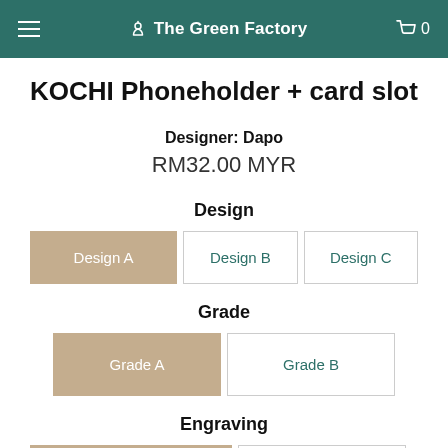The Green Factory
KOCHI Phoneholder + card slot
Designer: Dapo
RM32.00 MYR
Design
Design A (selected), Design B, Design C
Grade
Grade A (selected), Grade B
Engraving
Without engraving (selected), + engraving